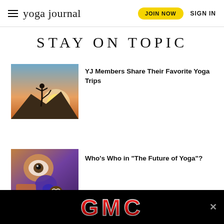yoga journal | JOIN NOW | SIGN IN
STAY ON TOPIC
[Figure (photo): Person performing a standing yoga pose on a rocky outcrop at sunset, silhouetted against a bright sky]
YJ Members Share Their Favorite Yoga Trips
[Figure (photo): Illustration or artwork showing colorful, surreal figures, possibly depicting multiple yoga-related characters]
Who’s Who in “The Future of Yoga”?
[Figure (logo): GMC advertisement banner on black background with red and silver GMC logo text]